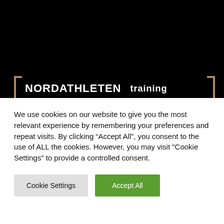[Figure (screenshot): Dark hero section of the Nordathleten website showing a black background with the site logo. The logo consists of the word 'NORDATHLETEN' in bold white uppercase letters with tan/bronze bracket decorations on either side, and the word 'training' in white bold text to the right.]
We use cookies on our website to give you the most relevant experience by remembering your preferences and repeat visits. By clicking “Accept All”, you consent to the use of ALL the cookies. However, you may visit "Cookie Settings" to provide a controlled consent.
Cookie Settings
Accept All